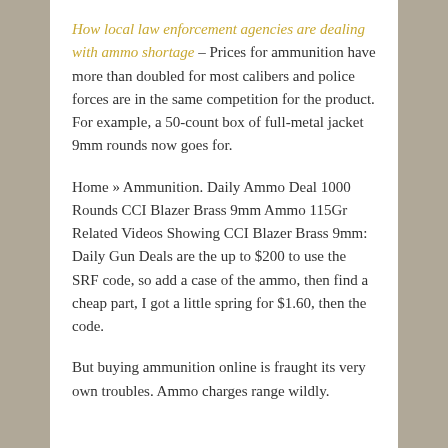How local law enforcement agencies are dealing with ammo shortage – Prices for ammunition have more than doubled for most calibers and police forces are in the same competition for the product. For example, a 50-count box of full-metal jacket 9mm rounds now goes for.
Home » Ammunition. Daily Ammo Deal 1000 Rounds CCI Blazer Brass 9mm Ammo 115Gr Related Videos Showing CCI Blazer Brass 9mm: Daily Gun Deals are the up to $200 to use the SRF code, so add a case of the ammo, then find a cheap part, I got a little spring for $1.60, then the code.
But buying ammunition online is fraught its very own troubles. Ammo charges range wildly.